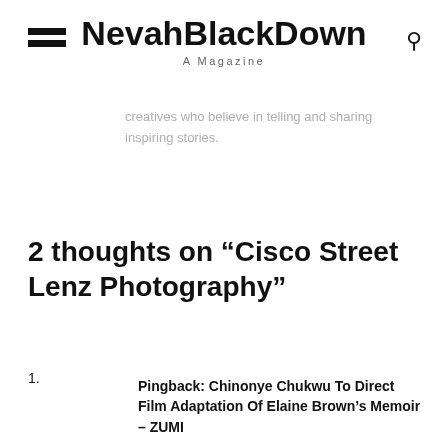NevahBlackDown
A Magazine
creatives who believe in telling and sharing inspiring stories.
2 thoughts on “Cisco Street Lenz Photography”
1. Pingback: Chinonye Chukwu To Direct Film Adaptation Of Elaine Brown’s Memoir – ZUMI